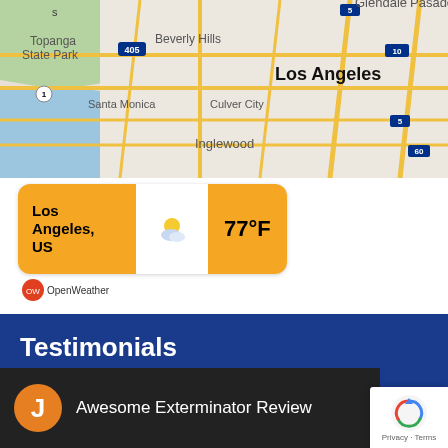[Figure (map): Google Maps view of Los Angeles area showing Topanga State Park, Beverly Hills, Santa Monica, Culver City, Inglewood, Glendale, Pasadena, and major roads/highways including 405, 1, 5, 10, 60.]
[Figure (infographic): OpenWeather widget showing Los Angeles, US weather with partly cloudy icon and temperature of 77°F on a golden/orange background.]
Testimonials
[Figure (screenshot): Video thumbnail showing 'Awesome Exterminator Review' with orange circle avatar letter J, dark background, and a reCAPTCHA badge in the bottom right corner.]